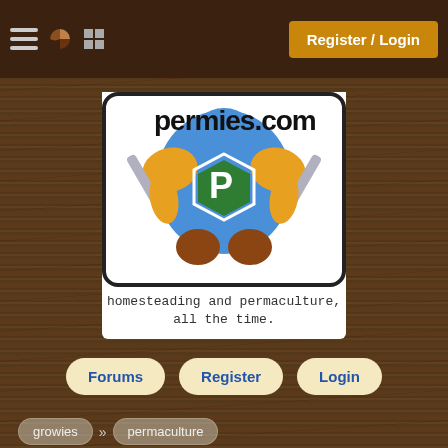Register / Login
[Figure (logo): permies.com logo with superhero character holding tools, tagline: homesteading and permaculture, all the time.]
Forums
Register
Login
growies » permaculture
price of a PDC
reply